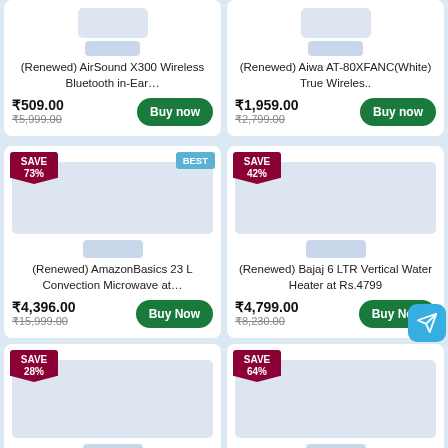[Figure (screenshot): E-commerce product listing page showing renewed/refurbished products with prices and Buy Now buttons]
(Renewed) AirSound X300 Wireless Bluetooth in-Ear...
₹509.00
₹5,999.00
(Renewed) Aiwa AT-80XFANC(White) True Wireles..
₹1,959.00
₹2,799.00
SAVE 73%
BEST
(Renewed) AmazonBasics 23 L Convection Microwave at...
₹4,396.00
₹15,999.00
SAVE 42%
(Renewed) Bajaj 6 LTR Vertical Water Heater at Rs.4799
₹4,799.00
₹8,230.00
SAVE 28%
(Renewed) Fire-Boltt SpO2 Full
SAVE 64%
(Renewed) Fire-Boltt Supreme